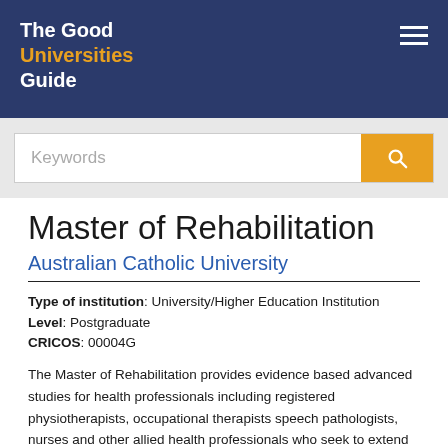The Good Universities Guide
Keywords
Master of Rehabilitation
Australian Catholic University
Type of institution: University/Higher Education Institution
Level: Postgraduate
CRICOS: 00004G
The Master of Rehabilitation provides evidence based advanced studies for health professionals including registered physiotherapists, occupational therapists speech pathologists, nurses and other allied health professionals who seek to extend knowledge and skills in the fields of